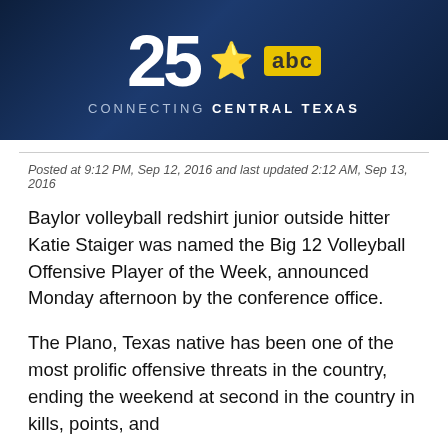[Figure (logo): KXXV-TV Channel 25 ABC 'Connecting Central Texas' banner logo on dark blue background]
Posted at 9:12 PM, Sep 12, 2016 and last updated 2:12 AM, Sep 13, 2016
Baylor volleyball redshirt junior outside hitter Katie Staiger was named the Big 12 Volleyball Offensive Player of the Week, announced Monday afternoon by the conference office.
The Plano, Texas native has been one of the most prolific offensive threats in the country, ending the weekend at second in the country in kills, points, and